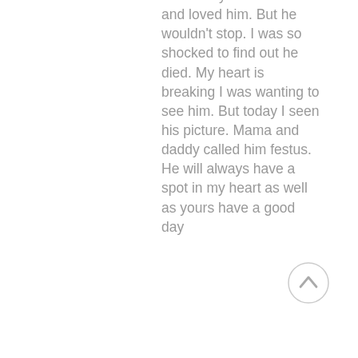do. I really did miss him and loved him. But he wouldn't stop. I was so shocked to find out he died. My heart is breaking I was wanting to see him. But today I seen his picture. Mama and daddy called him festus. He will always have a spot in my heart as well as yours have a good day
[Figure (illustration): A circular scroll-to-top button with an upward-pointing arrow, light gray border and arrow.]